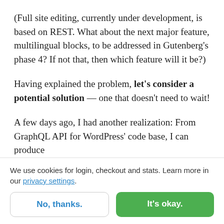(Full site editing, currently under development, is based on REST. What about the next major feature, multilingual blocks, to be addressed in Gutenberg's phase 4? If not that, then which feature will it be?)
Having explained the problem, let's consider a potential solution — one that doesn't need to wait!
A few days ago, I had another realization: From GraphQL API for WordPress' code base, I can produce a smaller version, containing only the GraphQL...
We use cookies for login, checkout and stats. Learn more in our privacy settings.